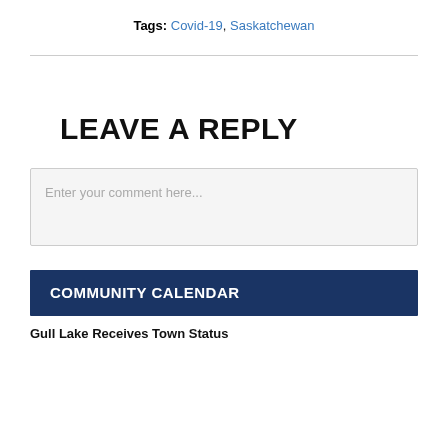Tags: Covid-19, Saskatchewan
LEAVE A REPLY
Enter your comment here...
COMMUNITY CALENDAR
Gull Lake Receives Town Status